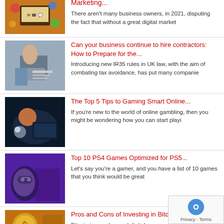[Figure (photo): Marketing article thumbnail - hands at laptop with social media icons]
Marketing...
There aren't many business owners, in 2021, disputing the fact that without a great digital market
[Figure (photo): Business person working at desk with laptop and notebook]
Can your business continue to hire contractors: How to Prepare for the...
Introducing new IR35 rules in UK law, with the aim of combating tax avoidance, has put many companie
[Figure (photo): Person gaming on laptop in dark setting with lights]
The Top 5 Tips to Gaming Smart Online...
If you're new to the world of online gambling, then you might be wondering how you can start playi
[Figure (photo): Game controller held in purple lighting]
Top 10 PS4 Games Optimized for PS5...
Let's say you're a gamer, and you have a list of 10 games that you think would be great
[Figure (photo): Bitcoin gold coin close-up]
Pros and Cons of Investing in Bitcoin...
Bitcoin is an advanced digital currency controlled by the